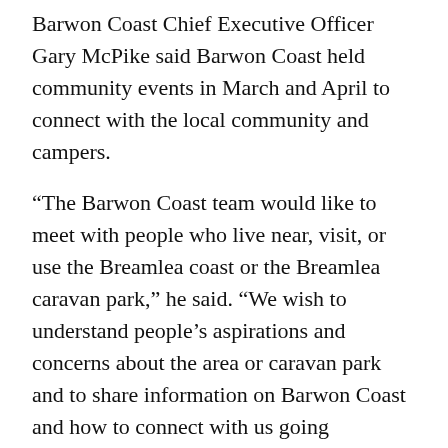Barwon Coast Chief Executive Officer Gary McPike said Barwon Coast held community events in March and April to connect with the local community and campers.
“The Barwon Coast team would like to meet with people who live near, visit, or use the Breamlea coast or the Breamlea caravan park,” he said. “We wish to understand people’s aspirations and concerns about the area or caravan park and to share information on Barwon Coast and how to connect with us going forward.”